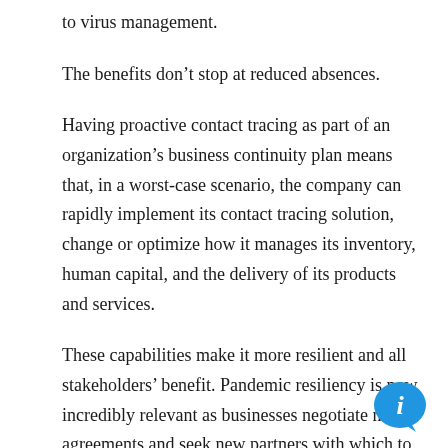to virus management.
The benefits don’t stop at reduced absences.
Having proactive contact tracing as part of an organization’s business continuity plan means that, in a worst-case scenario, the company can rapidly implement its contact tracing solution, change or optimize how it manages its inventory, human capital, and the delivery of its products and services.
These capabilities make it more resilient and all stakeholders’ benefit. Pandemic resiliency is now incredibly relevant as businesses negotiate new agreements and seek new partners with which to face an uncertain future together.
[Figure (illustration): Blue speech bubble icon with white lowercase letter i (information icon) in the bottom-right corner of the page.]